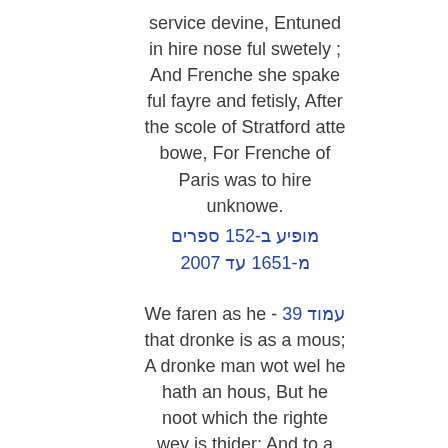service devine, Entuned in hire nose ful swetely ; And Frenche she spake ful fayre and fetisly, After the scole of Stratford atte bowe, For Frenche of Paris was to hire unknowe.
מופיע ב-152 ספרים מ-1651 עד 2007
We faren as he - עמוד 39 that dronke is as a mous; A dronke man wot wel he hath an hous, But he noot which the righte wey is thider; And to a dronke man the wey is slider. And certes, in this world so faren we; We seken faste after felicitee, But we goon wrong ful often, trewely.